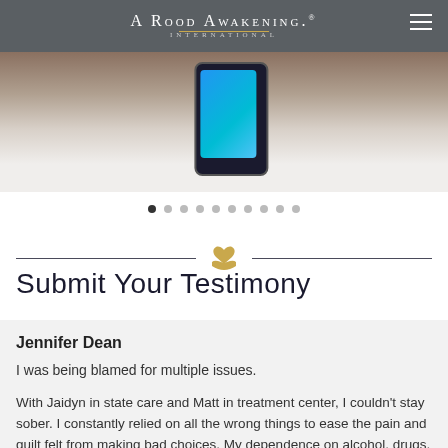A Rood Awakening International
[Figure (photo): Hero banner showing a smartphone on a wooden surface with white paper/envelope]
[Figure (infographic): Carousel dot navigation: 10 dots, first dot active]
[Figure (infographic): Decorative horizontal divider with golden heart-on-hand icon in the center]
Submit Your Testimony
Jennifer Dean
I was being blamed for multiple issues.
With Jaidyn in state care and Matt in treatment center, I couldn't stay sober. I constantly relied on all the wrong things to ease the pain and guilt felt from making bad choices. My dependence on alcohol, drugs, and sex failed to comfort me during difficult